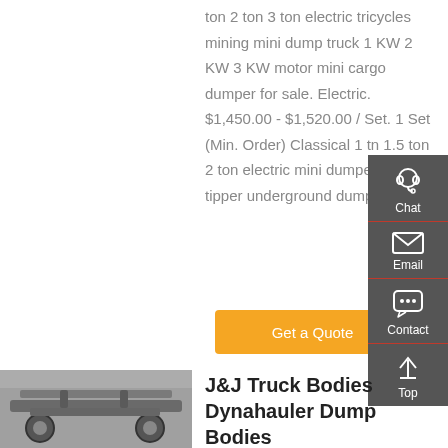ton 2 ton 3 ton electric tricycles mining mini dump truck 1 KW 2 KW 3 KW motor mini cargo dumper for sale. Electric. $1,450.00 - $1,520.00 / Set. 1 Set (Min. Order) Classical 1 tn 1.5 ton 2 ton electric mini dumper cargo tipper underground dump truck...
Get a Quote
[Figure (photo): Underside/chassis view of a dump truck showing axle and suspension components]
J&J Truck Bodies Dynahauler Dump Bodies